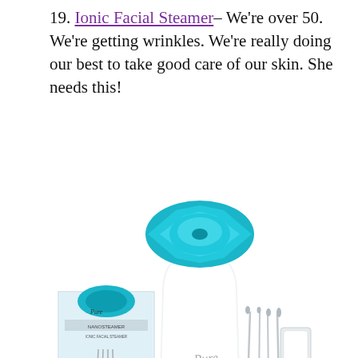19. Ionic Facial Steamer– We're over 50. We're getting wrinkles. We're really doing our best to take good care of our skin. She needs this!
[Figure (photo): Product photo of an Ionic Facial Steamer with blue metallic elliptical nozzle, white body with 'Pure' branding, accompanied by metal blackhead extraction tools, a case, and the product box]
[Figure (screenshot): Advertisement banner: Petco logo, text 'Get Your Pet Ready For Summer', 'Petco', with a blue navigation arrow icon. Small play and close icons below.]